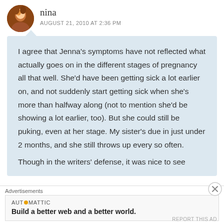nina
AUGUST 21, 2010 AT 2:36 PM
I agree that Jenna's symptoms have not reflected what actually goes on in the different stages of pregnancy all that well. She'd have been getting sick a lot earlier on, and not suddenly start getting sick when she's more than halfway along (not to mention she'd be showing a lot earlier, too). But she could still be puking, even at her stage. My sister's due in just under 2 months, and she still throws up every so often.

Though in the writers' defense, it was nice to see
Advertisements
AUTOMATTIC
Build a better web and a better world.